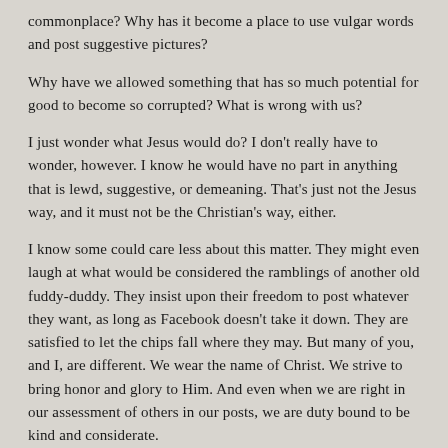commonplace? Why has it become a place to use vulgar words and post suggestive pictures?
Why have we allowed something that has so much potential for good to become so corrupted? What is wrong with us?
I just wonder what Jesus would do? I don’t really have to wonder, however. I know he would have no part in anything that is lewd, suggestive, or demeaning. That’s just not the Jesus way, and it must not be the Christian’s way, either.
I know some could care less about this matter. They might even laugh at what would be considered the ramblings of another old fuddy-duddy. They insist upon their freedom to post whatever they want, as long as Facebook doesn’t take it down. They are satisfied to let the chips fall where they may. But many of you, and I, are different. We wear the name of Christ. We strive to bring honor and glory to Him. And even when we are right in our assessment of others in our posts, we are duty bound to be kind and considerate.
Ephesians 4:29 applies to Facebook, too. “Let no corrupt communication proceed out of your mouth, but what is good for